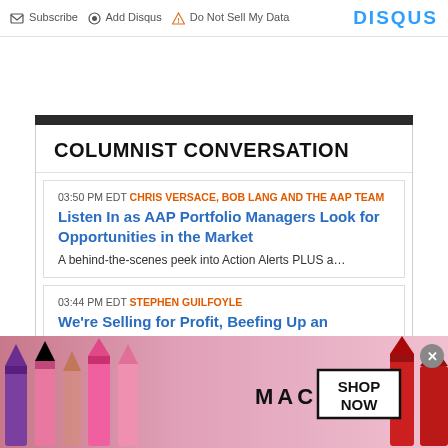Subscribe  Add Disqus  Do Not Sell My Data  DISQUS
COLUMNIST CONVERSATION
03:50 PM EDT  CHRIS VERSACE, BOB LANG AND THE AAP TEAM
Listen In as AAP Portfolio Managers Look for Opportunities in the Market
A behind-the-scenes peek into Action Alerts PLUS a...
03:44 PM EDT  STEPHEN GUILFOYLE
We're Selling for Profit, Beefing Up an Underweight Holding
[Figure (advertisement): MAC Cosmetics ad banner showing colorful lipsticks, MAC logo, and SHOP NOW button]